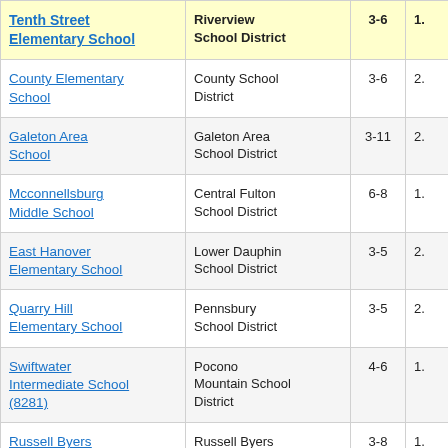| School | District | Grades |  |
| --- | --- | --- | --- |
| Tenth Street Elementary School | Riverview School District | 3-6 | 1. |
| County Elementary School | County School District | 3-6 | 2. |
| Galeton Area School | Galeton Area School District | 3-11 | 2. |
| Mcconnellsburg Middle School | Central Fulton School District | 6-8 | 1. |
| East Hanover Elementary School | Lower Dauphin School District | 3-5 | 2. |
| Quarry Hill Elementary School | Pennsbury School District | 3-5 | 2. |
| Swiftwater Intermediate School (8281) | Pocono Mountain School District | 4-6 | 1. |
| Russell Byers Charter School | Russell Byers Charter School | 3-8 | 1. |